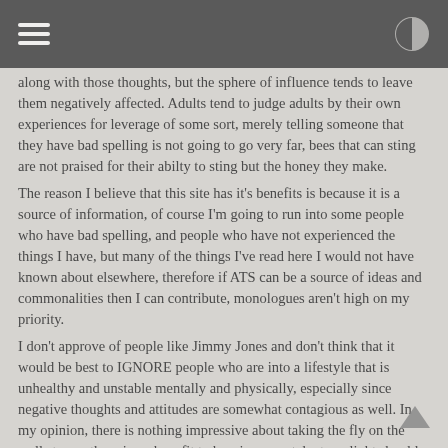[hamburger menu icon] [contrast/brightness icon]
along with those thoughts, but the sphere of influence tends to leave them negatively affected. Adults tend to judge adults by their own experiences for leverage of some sort, merely telling someone that they have bad spelling is not going to go very far, bees that can sting are not praised for their abilty to sting but the honey they make.
The reason I believe that this site has it's benefits is because it is a source of information, of course I'm going to run into some people who have bad spelling, and people who have not experienced the things I have, but many of the things I've read here I would not have known about elsewhere, therefore if ATS can be a source of ideas and commonalities then I can contribute, monologues aren't high on my priority.
I don't approve of people like Jimmy Jones and don't think that it would be best to IGNORE people who are into a lifestyle that is unhealthy and unstable mentally and physically, especially since negative thoughts and attitudes are somewhat contagious as well. In my opinion, there is nothing impressive about taking the fly on the wall stance, there is no benefit to burying your talent, no light should be hidden under a basket. Of course reading or writing is not absolutely essential for survival in the wilderness, but neither